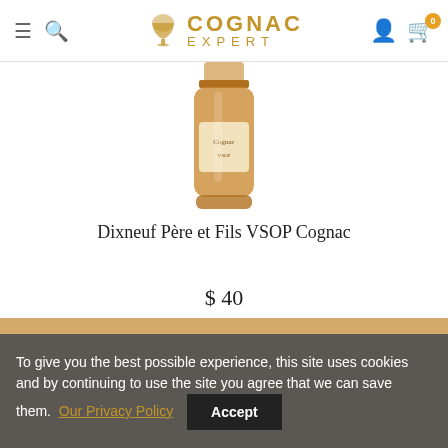Cognac Expert
[Figure (photo): Bottle of Dixneuf Père et Fils VSOP Cognac, partially visible, amber-colored bottle with label]
Dixneuf Père et Fils VSOP Cognac
$ 40
To give you the best possible experience, this site uses cookies and by continuing to use the site you agree that we can save them. Our Privacy Policy Accept